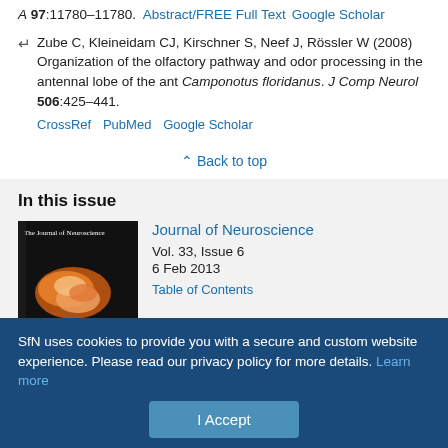A 97:11780–11780. Abstract/FREE Full Text Google Scholar
Zube C, Kleineidam CJ, Kirschner S, Neef J, Rössler W (2008) Organization of the olfactory pathway and odor processing in the antennal lobe of the ant Camponotus floridanus. J Comp Neurol 506:425–441. CrossRef PubMed Google Scholar
↑ Back to top
In this issue
[Figure (photo): Journal of Neuroscience cover image showing orange/red biological image on dark background]
Journal of Neuroscience
Vol. 33, Issue 6
6 Feb 2013
Table of Contents
SfN uses cookies to provide you with a secure and custom website experience. Please read our privacy policy for more details. Learn more